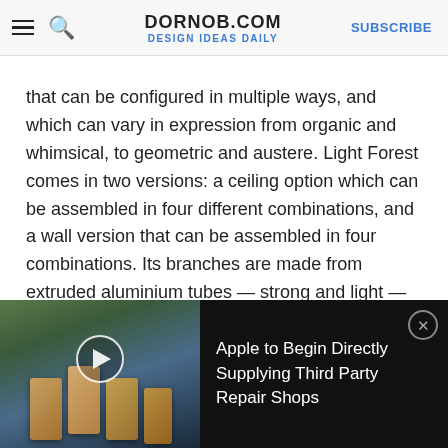DORNOB.COM — DESIGN IDEAS DAILY | SUBSCRIBE
that can be configured in multiple ways, and which can vary in expression from organic and whimsical, to geometric and austere. Light Forest comes in two versions: a ceiling option which can be assembled in four different combinations, and a wall version that can be assembled in four combinations. Its branches are made from extruded aluminium tubes — strong and light — and the lampshades or flowers are spun from copper or brass, which lends a warm glow to the light source. The entire system is coated with a matte lacquer, giving it an aesthetic that can be both industrial and organic, both austere and whimsical, depending on its
[Figure (screenshot): Advertisement banner with Apple iPhone image and text 'Apple to Begin Directly Supplying Third Party Repair Shops' with a play button and close button]